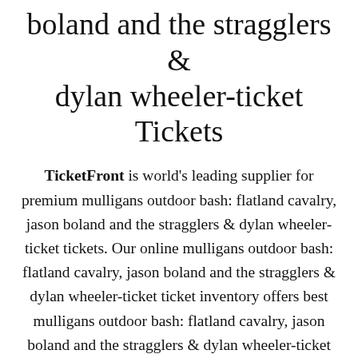boland and the stragglers & dylan wheeler-ticket Tickets
TicketFront is world's leading supplier for premium mulligans outdoor bash: flatland cavalry, jason boland and the stragglers & dylan wheeler-ticket tickets. Our online mulligans outdoor bash: flatland cavalry, jason boland and the stragglers & dylan wheeler-ticket ticket inventory offers best mulligans outdoor bash: flatland cavalry, jason boland and the stragglers & dylan wheeler-ticket ticket deals at the most reasonable price. We provide you access to most awaited mulligans outdoor bash: flatland cavalry, jason boland and the stragglers & dylan wheeler-ticket events